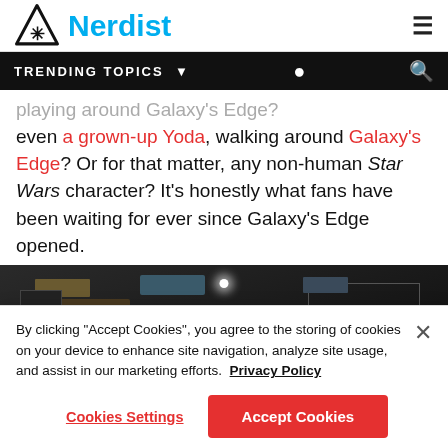Nerdist
TRENDING TOPICS
even a grown-up Yoda, walking around Galaxy's Edge? Or for that matter, any non-human Star Wars character? It's honestly what fans have been waiting for ever since Galaxy's Edge opened.
[Figure (photo): Dark scene photo, possibly from Galaxy's Edge at Disneyland, showing shelves and objects in dim lighting with a bright light source in the background.]
By clicking "Accept Cookies", you agree to the storing of cookies on your device to enhance site navigation, analyze site usage, and assist in our marketing efforts. Privacy Policy
Cookies Settings | Accept Cookies